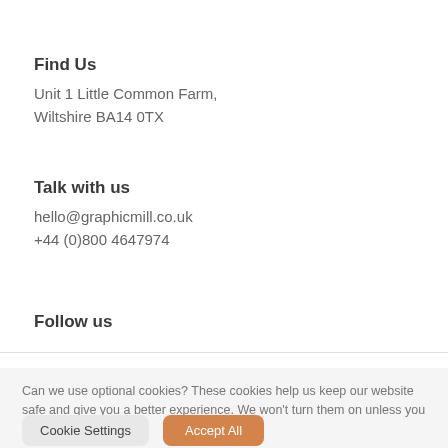Find Us
Unit 1 Little Common Farm,
Wiltshire BA14 0TX
Talk with us
hello@graphicmill.co.uk
+44 (0)800 4647974
Follow us
Can we use optional cookies? These cookies help us keep our website safe and give you a better experience. We won't turn them on unless you accept.
Cookie Settings   Accept All